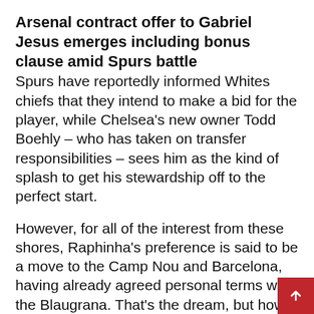Arsenal contract offer to Gabriel Jesus emerges including bonus clause amid Spurs battle
Spurs have reportedly informed Whites chiefs that they intend to make a bid for the player, while Chelsea's new owner Todd Boehly – who has taken on transfer responsibilities – sees him as the kind of splash to get his stewardship off to the perfect start.
However, for all of the interest from these shores, Raphinha's preference is said to be a move to the Camp Nou and Barcelona, having already agreed personal terms with the Blaugrana. That's the dream, but how Barca would be able to contend with three Premier League clubs in the midst of their own financial woes remains to be seen.
But while the destination of his next club remains up in the air, there is a growing acceptance that he will at some